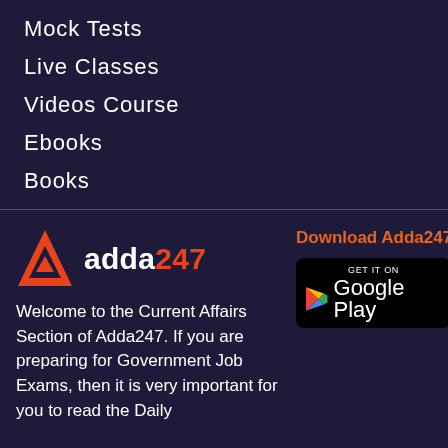Mock Tests
Live Classes
Videos Course
Ebooks
Books
[Figure (logo): Adda247 logo with red triangle and bold text 'adda247']
Download Adda247 App
[Figure (other): Google Play Store badge — GET IT ON Google Play]
Welcome to the Current Affairs Section of Adda247. If you are preparing for Government Job Exams, then it is very important for you to read the Daily